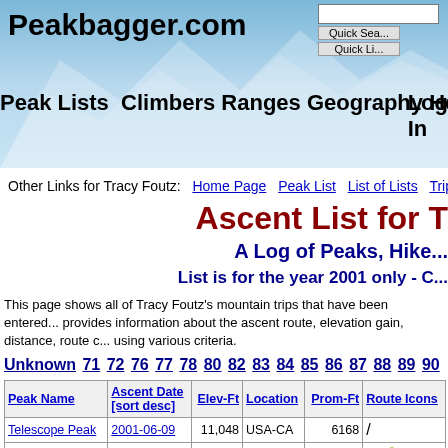Peakbagger.com
Other Links for Tracy Foutz: Home Page | Peak List | List of Lists | Trip Re...
Ascent List for T...
A Log of Peaks, Hike...
List is for the year 2001 only - C...
This page shows all of Tracy Foutz's mountain trips that have been entered... provides information about the ascent route, elevation gain, distance, route c... using various criteria.
Unknown 71 72 76 77 78 80 82 83 84 85 86 87 88 89 90 93 94 95 96 97 9...
| Peak Name | Ascent Date [sort desc] | Elev-Ft | Location | Prom-Ft | Route Icons |
| --- | --- | --- | --- | --- | --- |
| Telescope Peak | 2001-06-09 | 11,048 | USA-CA | 6168 |  |
| Delano Peak | 2001-07-17 | 12,169 | USA-UT | 4689 |  |
| Railroad Peak | 2001-01-26 | 4142 | USA-NV | 1526 |  |
| Bridge Mountain | 2001-11-23 | 6988 | USA-NV | 689 |  |
| Mount Holl... | 2001-07-17 | 11,005 | USA-UT | 105 |  |